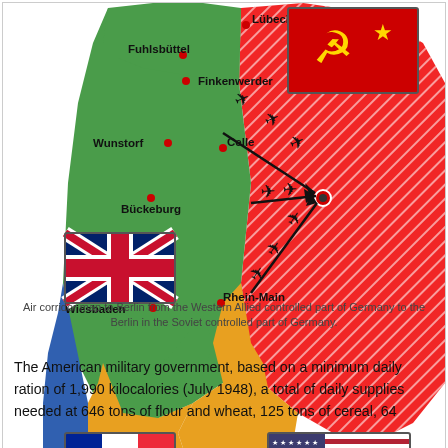[Figure (map): Air corridor map to Berlin from the Western Allied controlled part of Germany to the Berlin in the Soviet controlled part of Germany. Shows British zone (green, north), US zone (yellow, center-south), French zone (blue, southwest), and Soviet zone (red hatched, east). Arrows indicate air corridors to Berlin. City labels: Lübeck, Fuhlsbüttel, Finkenwerder, Wunstorf, Celle, Bückeburg, Rhein-Main, Wiesbaden, Oberpfaffenhofen. Flags: UK (British zone), France (French zone), USA (US zone), USSR (Soviet zone).]
Air corridor map to Berlin from the Western Allied controlled part of Germany to the Berlin in the Soviet controlled part of Germany.
The American military government, based on a minimum daily ration of 1,990 kilocalories (July 1948), a total of daily supplies needed at 646 tons of flour and wheat, 125 tons of cereal, 64